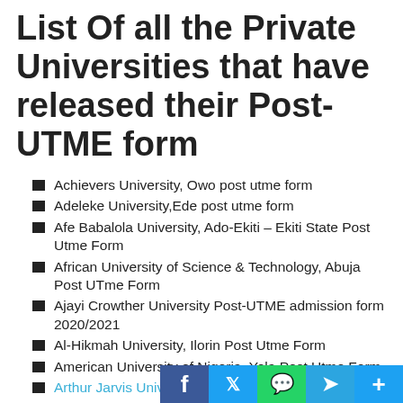List Of all the Private Universities that have released their Post-UTME form
Achievers University, Owo post utme form
Adeleke University,Ede post utme form
Afe Babalola University, Ado-Ekiti – Ekiti State Post Utme Form
African University of Science & Technology, Abuja Post UTme Form
Ajayi Crowther University Post-UTME admission form 2020/2021
Al-Hikmah University, Ilorin Post Utme Form
American University of Nigeria, Yola Post Utme Form
Arthur Jarvis University Post-UTME Form